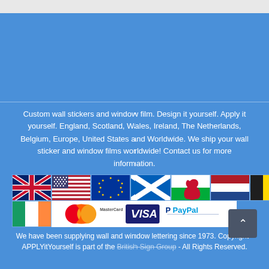Custom wall stickers and window film. Design it yourself. Apply it yourself. England, Scotland, Wales, Ireland, The Netherlands, Belgium, Europe, United States and Worldwide. We ship your wall sticker and window films worldwide! Contact us for more information.
[Figure (illustration): Row of country flags (UK, USA, EU, Scotland, Wales, Netherlands, Belgium) and a second row with Ireland flag plus payment logos (MasterCard, VISA, PayPal)]
We have been supplying wall and window lettering since 1973. Copyright - APPLYitYourself is part of the British Sign Group - All Rights Reserved.